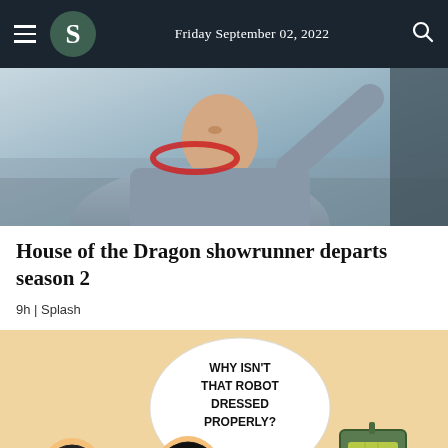Friday September 02, 2022
[Figure (photo): A man wearing a gray hoodie with red headphones around his neck, raising his arm, photographed outdoors on a film set.]
House of the Dragon showrunner departs season 2
9h | Splash
[Figure (illustration): A cartoon illustration showing two people looking at a robot, with a speech bubble saying 'WHY ISN'T THAT ROBOT DRESSED PROPERLY?'. The background is beige/tan. A green robot is visible on the right.]